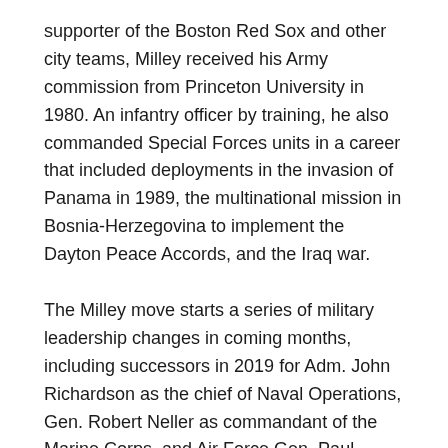supporter of the Boston Red Sox and other city teams, Milley received his Army commission from Princeton University in 1980. An infantry officer by training, he also commanded Special Forces units in a career that included deployments in the invasion of Panama in 1989, the multinational mission in Bosnia-Herzegovina to implement the Dayton Peace Accords, and the Iraq war.
The Milley move starts a series of military leadership changes in coming months, including successors in 2019 for Adm. John Richardson as the chief of Naval Operations, Gen. Robert Neller as commandant of the Marine Corps, and Air Force Gen. Paul Selva as vice chairman of the Joint Chiefs. Trump also will pick a replacement for Milley as Army chief.
Goldfein began his term as Air Force chief of staff in 2016, so